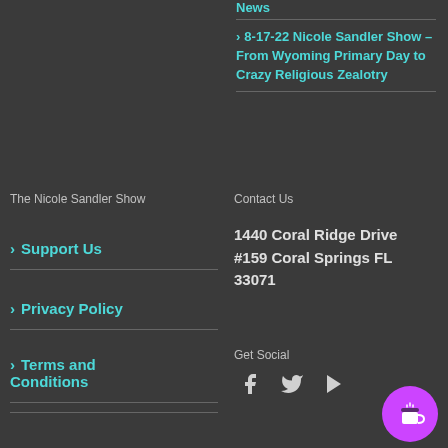News
8-17-22 Nicole Sandler Show – From Wyoming Primary Day to Crazy Religious Zealotry
The Nicole Sandler Show
Contact Us
Support Us
Privacy Policy
Terms and Conditions
1440 Coral Ridge Drive #159 Coral Springs FL 33071
Get Social
[Figure (illustration): Social media icons: Facebook, Twitter, YouTube]
[Figure (illustration): Buy Me a Coffee purple circular button with coffee cup icon]